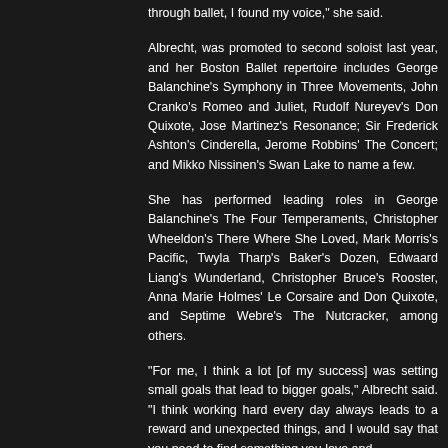through ballet, I found my voice," she said.
Albrecht, was promoted to second soloist last year, and her Boston Ballet repertoire includes George Balanchine's Symphony in Three Movements, John Cranko's Romeo and Juliet, Rudolf Nureyev's Don Quixote, Jose Martinez's Resonance; Sir Frederick Ashton's Cinderella, Jerome Robbins' The Concert; and Mikko Nissinen's Swan Lake to name a few.
She has performed leading roles in George Balanchine's The Four Temperaments, Christopher Wheeldon's There Where She Loved, Mark Morris's Pacific, Twyla Tharp's Baker's Dozen, Edwaard Liang's Wunderland, Christopher Bruce's Rooster, Anna Marie Holmes' Le Corsaire and Don Quixote, and Septime Webre's The Nutcracker, among others.
"For me, I think a lot [of my success] was setting small goals that lead to bigger goals," Albrecht said. "I think working hard every day always leads to a reward and unexpected things, and I would say that you need to find something you love and